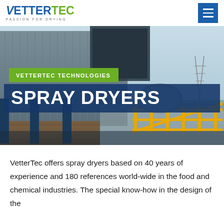[Figure (logo): VetterTec logo with tagline PASSION FOR DRYING]
[Figure (photo): Industrial spray dryer facility building with blue metal cladding, yellow railings, and clear sky in background]
VETTERTEC TECHNOLOGIES
SPRAY DRYERS
VetterTec offers spray dryers based on 40 years of experience and 180 references world-wide in the food and chemical industries. The special know-how in the design of the